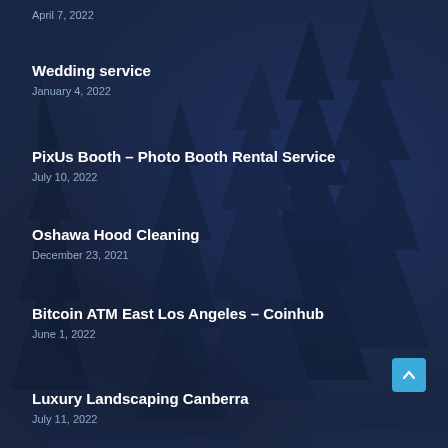April 7, 2022
Wedding service
January 4, 2022
PixUs Booth – Photo Booth Rental Service
July 10, 2022
Oshawa Hood Cleaning
December 23, 2021
Bitcoin ATM East Los Angeles – Coinhub
June 1, 2022
Luxury Landscaping Canberra
July 11, 2022